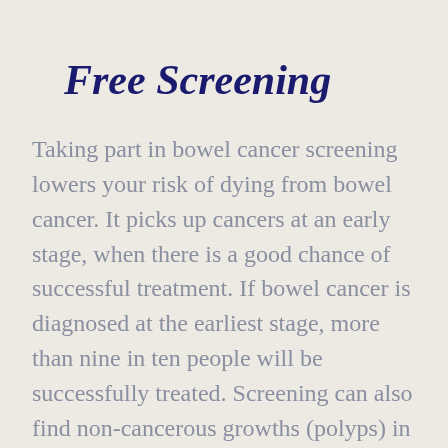Free Screening
Taking part in bowel cancer screening lowers your risk of dying from bowel cancer. It picks up cancers at an early stage, when there is a good chance of successful treatment. If bowel cancer is diagnosed at the earliest stage, more than nine in ten people will be successfully treated. Screening can also find non-cancerous growths (polyps) in the bowel that may develop into cancer in the future.  These can be removed and hence reduce your risks of